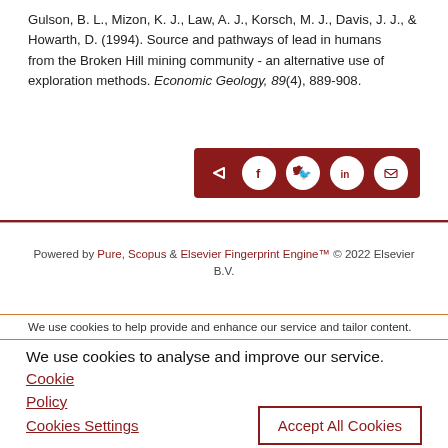Gulson, B. L., Mizon, K. J., Law, A. J., Korsch, M. J., Davis, J. J., & Howarth, D. (1994). Source and pathways of lead in humans from the Broken Hill mining community - an alternative use of exploration methods. Economic Geology, 89(4), 889-908.
[Figure (other): Dark red share button bar with share icon and social media icons: Facebook, Twitter, LinkedIn, Email]
Powered by Pure, Scopus & Elsevier Fingerprint Engine™ © 2022 Elsevier B.V.
We use cookies to help provide and enhance our service and tailor content.
We use cookies to analyse and improve our service. Cookie Policy
Cookies Settings
Accept All Cookies